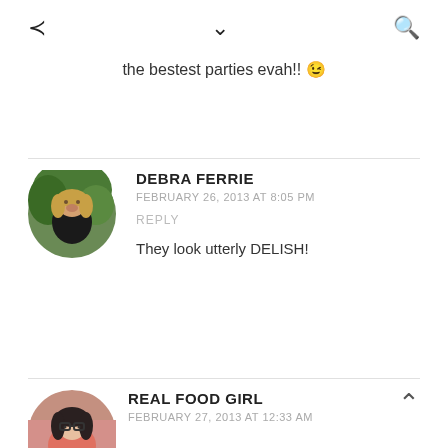share / chevron-down / search icons
the bestest parties evah!! 😉
DEBRA FERRIE
FEBRUARY 26, 2013 AT 8:05 PM
REPLY
They look utterly DELISH!
REAL FOOD GIRL
FEBRUARY 27, 2013 AT 12:33 AM